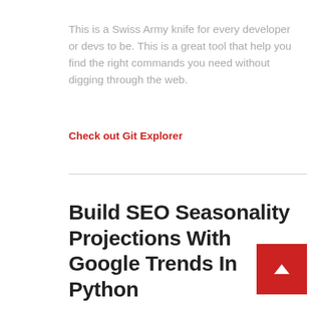This is a Swiss Army knife for every developer or devs to be. This is a great tool that help you find the right commands you need without digging through the web.
Check out Git Explorer
Build SEO Seasonality Projections With Google Trends In Python